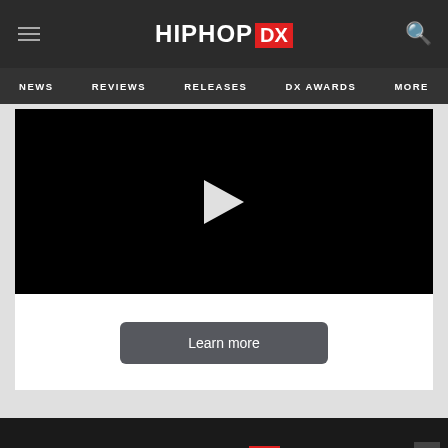HipHopDX — NEWS | REVIEWS | RELEASES | DX AWARDS | MORE
[Figure (screenshot): Video player with black background and white play button triangle in center]
Learn more
[Figure (logo): HipHopDX logo at bottom of page]
[Figure (infographic): Advertisement banner: Not just for college — invest529 Learn more]